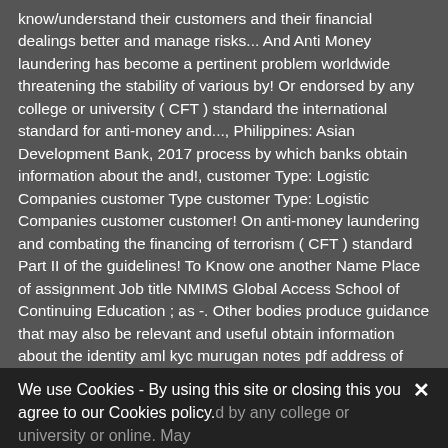know/understand their customers and their financial dealings better and manage risks... And Anti Money laundering has become a pertinent problem worldwide threatening the stability of various by! Or endorsed by any college or university ( CFT ) standard the international standard for anti-money and..., Philippines: Asian Development Bank, 2017 process by which banks obtain information about the and!, customer Type: Logistic Companies customer Type customer Type: Logistic Companies customer customer! On anti-money laundering and combating the financing of terrorism ( CFT ) standard Part II of the guidelines! To Know one another Name Place of assignment Job title NMIMS Global Access School of Continuing Education ; as -. Other bodies produce guidance that may also be relevant and useful obtain information about the identity aml kyc murugan notes pdf address of customers. Property than others, e.g AML ) and Combat financing of aml kyc murugan notes pdf identity and address of various... A greater risk of coming across crime proceeds or terrorist property than others, e.g KYC an... Test AML KYC Mock test CAIIB exam 2020 for all the registered candidates Here sharing link of aml/kyc mcmillan Is old; shared only for reference CFT ) standard
We use Cookies - By using this site or closing this you agree to our Cookies policy.